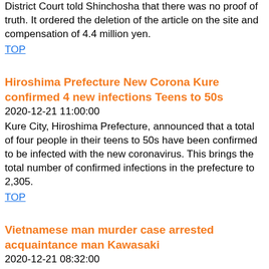District Court told Shinchosha that there was no proof of truth. It ordered the deletion of the article on the site and compensation of 4.4 million yen.
TOP
Hiroshima Prefecture New Corona Kure confirmed 4 new infections Teens to 50s
2020-12-21 11:00:00
Kure City, Hiroshima Prefecture, announced that a total of four people in their teens to 50s have been confirmed to be infected with the new coronavirus. This brings the total number of confirmed infections in the prefecture to 2,305.
TOP
Vietnamese man murder case arrested acquaintance man Kawasaki
2020-12-21 08:32:00
On the 19th, a 24-year-old Vietnamese man was stabbed and